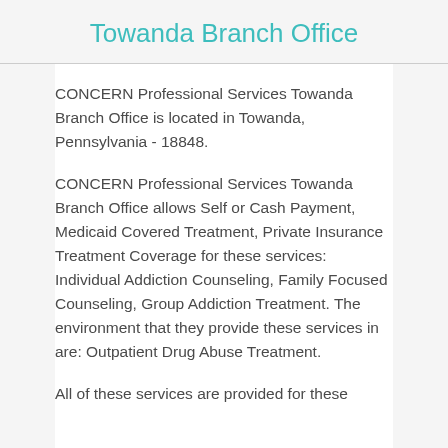Towanda Branch Office
CONCERN Professional Services Towanda Branch Office is located in Towanda, Pennsylvania - 18848.
CONCERN Professional Services Towanda Branch Office allows Self or Cash Payment, Medicaid Covered Treatment, Private Insurance Treatment Coverage for these services: Individual Addiction Counseling, Family Focused Counseling, Group Addiction Treatment. The environment that they provide these services in are: Outpatient Drug Abuse Treatment.
All of these services are provided for these